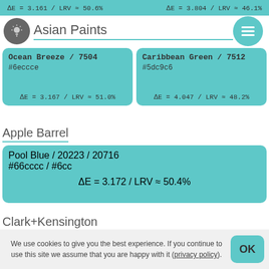ΔE = 3.161 / LRV ≈ 50.6%   |   ΔE = 3.804 / LRV ≈ 46.1%
Asian Paints
Ocean Breeze / 7504
#6eccce
ΔE = 3.167 / LRV ≈ 51.0%
Caribbean Green / 7512
#5dc9c6
ΔE = 4.047 / LRV ≈ 48.2%
Apple Barrel
Pool Blue / 20223 / 20716
#66cccc / #6cc
ΔE = 3.172 / LRV ≈ 50.4%
Clark+Kensington
Seafoam Green / 32D-3
#67cbcb
ΔE = 3.210 / LRV ≈ 49.9%
Vista Paint
We use cookies to give you the best experience. If you continue to use this site we assume that you are happy with it (privacy policy).